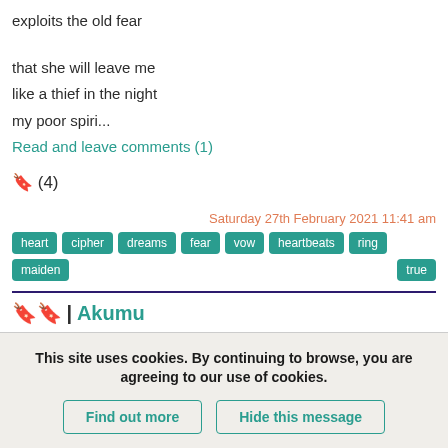exploits the old fear
that she will leave me
like a thief in the night
my poor spiri...
Read and leave comments (1)
🔖 (4)
Saturday 27th February 2021 11:41 am
heart cipher dreams fear vow heartbeats ring maiden true
🔖🔖 | Akumu
This site uses cookies. By continuing to browse, you are agreeing to our use of cookies.
Find out more | Hide this message